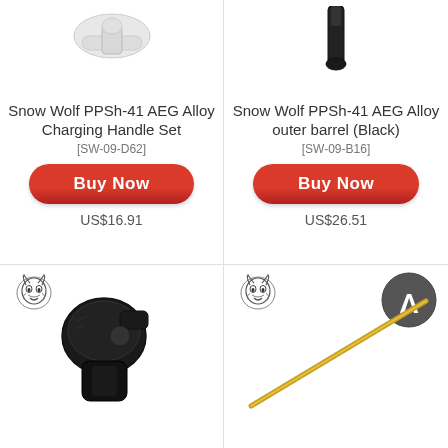[Figure (photo): Snow Wolf PPSh-41 AEG Alloy Charging Handle Set product photo (white/silver part on white background, top cropped)]
Snow Wolf PPSh-41 AEG Alloy Charging Handle Set
[SW-09-D62]
Buy Now
US$16.91
[Figure (photo): Snow Wolf PPSh-41 AEG Alloy outer barrel (Black) product photo (black part on white background, top cropped)]
Snow Wolf PPSh-41 AEG Alloy outer barrel (Black)
[SW-09-B16]
Buy Now
US$26.51
[Figure (photo): Bottom-left product: Snow Wolf logo (wolf head sketch) top-left, black knob/selector part product photo below]
[Figure (photo): Bottom-right product: Snow Wolf logo (wolf head sketch) top-left, circular dark grey badge with Lambda symbol top-right, gold/brass rod/barrel part photo below]